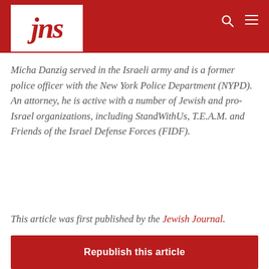[Figure (logo): JNS logo: white box with red italic 'jns' text on a red header bar]
Micha Danzig served in the Israeli army and is a former police officer with the New York Police Department (NYPD). An attorney, he is active with a number of Jewish and pro-Israel organizations, including StandWithUs, T.E.A.M. and Friends of the Israel Defense Forces (FIDF).
This article was first published by the Jewish Journal.
Republish this article